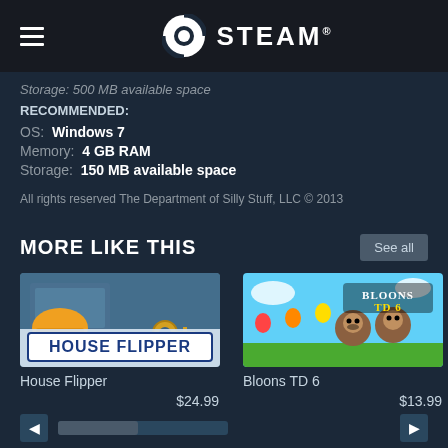STEAM
Storage: 500 MB available space
RECOMMENDED:
OS:  Windows 7
Memory:  4 GB RAM
Storage:  150 MB available space
All rights reserved The Department of Silly Stuff, LLC © 2013
MORE LIKE THIS
[Figure (screenshot): House Flipper game thumbnail - construction/renovation game cover art]
House Flipper
$24.99
[Figure (screenshot): Bloons TD 6 game thumbnail - cartoon monkey tower defense game cover art]
Bloons TD 6
$13.99
[Figure (screenshot): Partial game thumbnail - purple curtain/theater style image, partially visible]